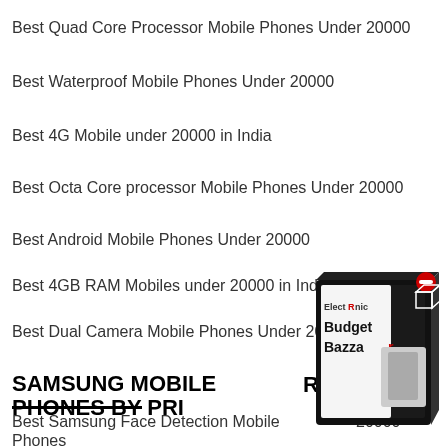Best Quad Core Processor Mobile Phones Under 20000
Best Waterproof Mobile Phones Under 20000
Best 4G Mobile under 20000 in India
Best Octa Core processor Mobile Phones Under 20000
Best Android Mobile Phones Under 20000
Best 4GB RAM Mobiles under 20000 in India
Best Dual Camera Mobile Phones Under 20000
SAMSUNG MOBILE PHONES BY PRICE
Best Samsung Face Detection Mobile Phones Under 20000
Best Samsung Octa Core processor Mobile Phones Under 20000
[Figure (logo): ElectRonic Budget Bazzar advertisement box with 3D product image and red minus button icon]